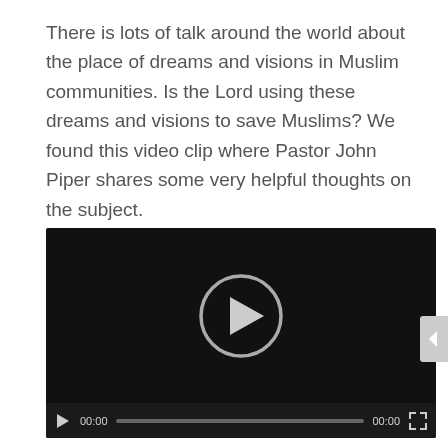There is lots of talk around the world about the place of dreams and visions in Muslim communities. Is the Lord using these dreams and visions to save Muslims? We found this video clip where Pastor John Piper shares some very helpful thoughts on the subject.
[Figure (screenshot): Embedded video player with dark background showing a play button circle in the center. Controls bar at bottom shows play button, 00:00 timestamp, progress bar, 00:00 end time, and fullscreen button.]